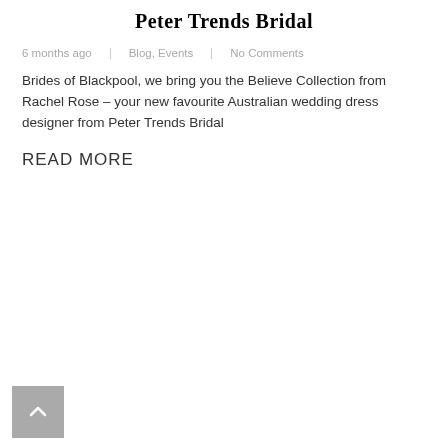Peter Trends Bridal
6 months ago    Blog, Events    No Comments
Brides of Blackpool, we bring you the Believe Collection from Rachel Rose – your new favourite Australian wedding dress designer from Peter Trends Bridal
READ MORE